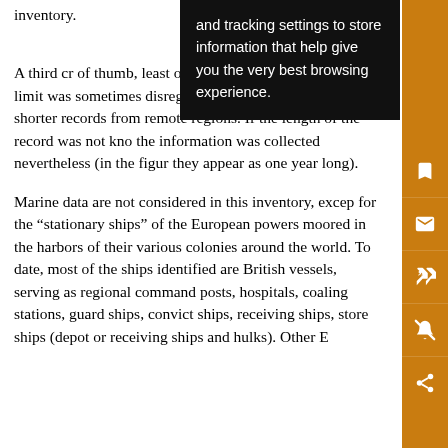inventory.
A third cr... a rule of thumb, ...th of least one year, although this lower limit was sometimes disregarded for very early data or shorter records from remote regions. If the length of the record was not known, the information was collected nevertheless (in the figures they appear as one year long).
Marine data are not considered in this inventory, except for the “stationary ships” of the European powers moored in the harbors of their various colonies around the world. To date, most of the ships identified are British vessels, serving as regional command posts, hospitals, coaling stations, guard ships, convict ships, receiving ships, store ships (depot or receiving ships and hulks). Other European...
[Figure (other): Dark popup overlay showing cookie/tracking text: 'and tracking settings to store information that help give you the very best browsing experience.']